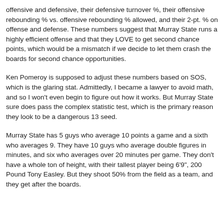offensive and defensive, their defensive turnover %, their offensive rebounding % vs. offensive rebounding % allowed, and their 2-pt. % on offense and defense. These numbers suggest that Murray State runs a highly efficient offense and that they LOVE to get second chance points, which would be a mismatch if we decide to let them crash the boards for second chance opportunities.
Ken Pomeroy is supposed to adjust these numbers based on SOS, which is the glaring stat. Admittedly, I became a lawyer to avoid math, and so I won't even begin to figure out how it works. But Murray State sure does pass the complex statistic test, which is the primary reason they look to be a dangerous 13 seed.
Murray State has 5 guys who average 10 points a game and a sixth who averages 9. They have 10 guys who average double figures in minutes, and six who averages over 20 minutes per game. They don't have a whole ton of height, with their tallest player being 6'9", 200 Pound Tony Easley. But they shoot 50% from the field as a team, and they get after the boards.